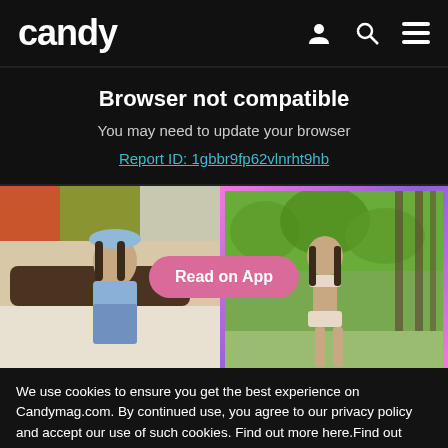candy
Browser not compatible
You may need to update your browser
Report ID: 1gbbr9fp62vlnrht9hb
[Figure (photo): Two photos side by side: left shows a young woman in a blue bucket hat and crop top sitting on a bed; right shows a young woman in a bikini outdoors with greenery background. A pink pill-shaped 'Read on App' button overlays the center.]
We use cookies to ensure you get the best experience on Candymag.com. By continued use, you agree to our privacy policy and accept our use of such cookies. Find out more here.Find out more here.